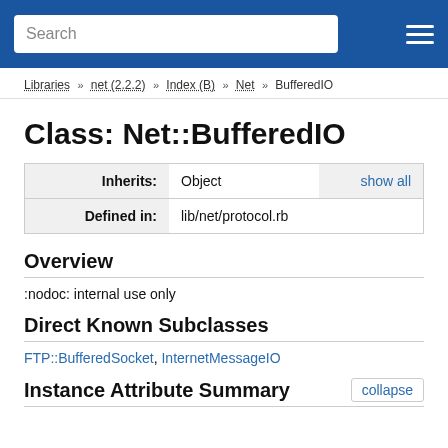Search
Libraries >> net (2.2.2) >> Index (B) >> Net >> BufferedIO
Class: Net::BufferedIO
|  |  |  |
| --- | --- | --- |
| Inherits: | Object | show all |
| Defined in: | lib/net/protocol.rb |  |
Overview
:nodoc: internal use only
Direct Known Subclasses
FTP::BufferedSocket, InternetMessageIO
Instance Attribute Summary